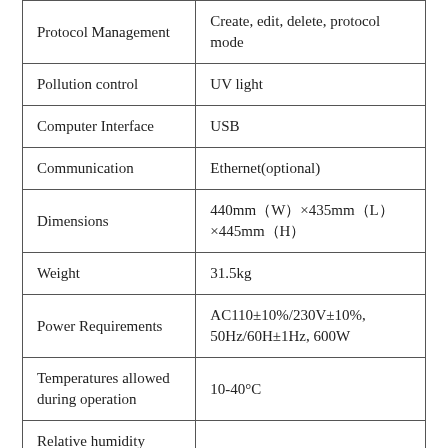| Protocol Management | Create, edit, delete, protocol mode |
| Pollution control | UV light |
| Computer Interface | USB |
| Communication | Ethernet(optional) |
| Dimensions | 440mm（W）×435mm（L）×445mm（H） |
| Weight | 31.5kg |
| Power Requirements | AC110±10%/230V±10%, 50Hz/60H±1Hz, 600W |
| Temperatures allowed during operation | 10-40°C |
| Relative humidity allowed during operation |  |